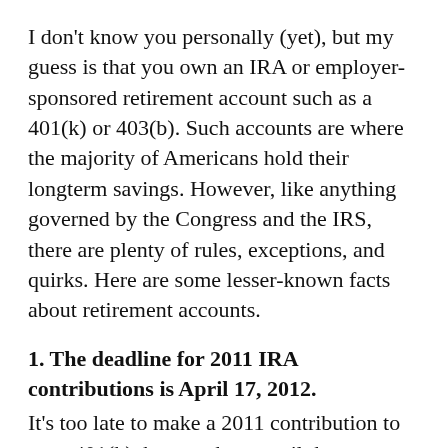I don't know you personally (yet), but my guess is that you own an IRA or employer-sponsored retirement account such as a 401(k) or 403(b). Such accounts are where the majority of Americans hold their longterm savings. However, like anything governed by the Congress and the IRS, there are plenty of rules, exceptions, and quirks. Here are some lesser-known facts about retirement accounts.
1. The deadline for 2011 IRA contributions is April 17, 2012.
It's too late to make a 2011 contribution to your 401(k), but you have until the tax-filing deadline to contribute to an IRA. That's usually April 15, but it's been extended to April 17 this year since